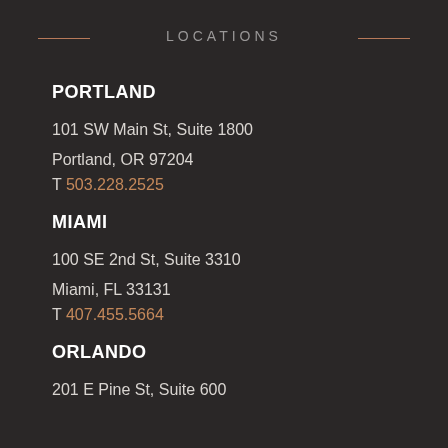LOCATIONS
PORTLAND
101 SW Main St, Suite 1800
Portland, OR 97204
T 503.228.2525
MIAMI
100 SE 2nd St, Suite 3310
Miami, FL 33131
T 407.455.5664
ORLANDO
201 E Pine St, Suite 600